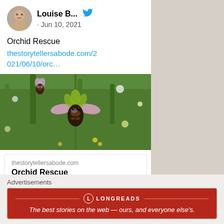[Figure (screenshot): Twitter/social media post by Louise B... dated Jun 10, 2021 about Orchid Rescue with a link to thestorytellersabode.com/2021/06/10/orc... showing a photo of a bee orchid flower in a green meadow, and a link preview card with domain thestorytellersabode.com and title Orchid Rescue]
Advertisements
[Figure (infographic): Longreads advertisement banner in red with logo and tagline: The best stories on the web — ours, and everyone else's.]